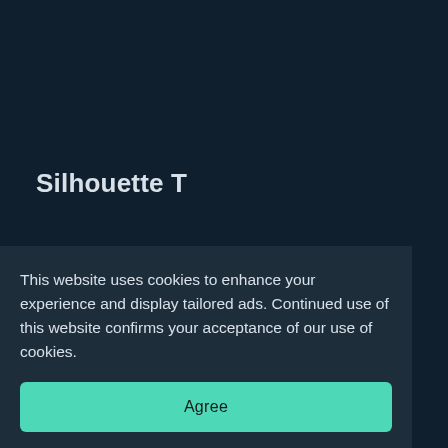Silhouette T
Price: 3,300 yen + tax / 4,300 yen + tax
This website uses cookies to enhance your experience and display tailored ads. Continued use of this website confirms your acceptance of our use of cookies.
Agree